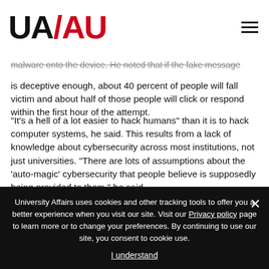UA/AU logo and navigation
malware onto the device. He noted that if the fake message is deceptive enough, about 40 percent of people will fall victim and about half of those people will click or respond within the first hour of the attempt.
“It’s a hell of a lot easier to hack humans” than it is to hack computer systems, he said. This results from a lack of knowledge about cybersecurity across most institutions, not just universities. “There are lots of assumptions about the ‘auto-magic’ cybersecurity that people believe is supposedly being provided to them,” he said.
University Affairs uses cookies and other tracking tools to offer you a better experience when you visit our site. Visit our Privacy policy page to learn more or to change your preferences. By continuing to use our site, you consent to cookie use.
I understand